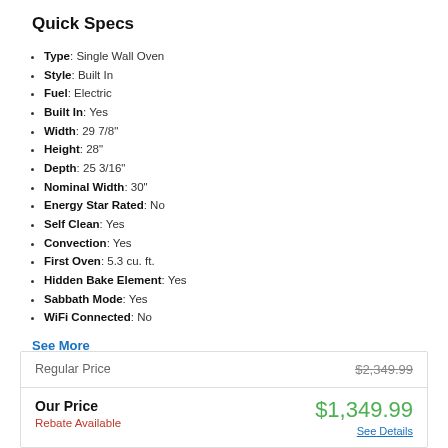Quick Specs
Type: Single Wall Oven
Style: Built In
Fuel: Electric
Built In: Yes
Width: 29 7/8"
Height: 28"
Depth: 25 3/16"
Nominal Width: 30"
Energy Star Rated: No
Self Clean: Yes
Convection: Yes
First Oven: 5.3 cu. ft.
Hidden Bake Element: Yes
Sabbath Mode: Yes
WiFi Connected: No
See More
|  |  |
| --- | --- |
| Regular Price | $2,349.99 |
| Our Price | $1,349.99 |
| Rebate Available | See Details |